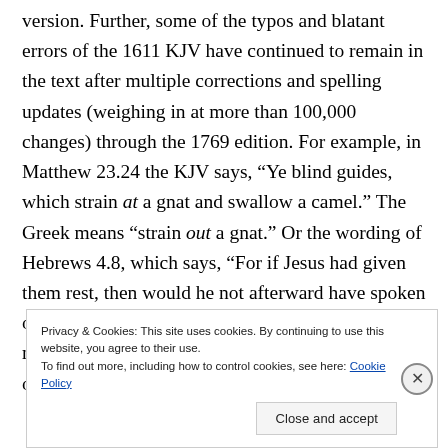version. Further, some of the typos and blatant errors of the 1611 KJV have continued to remain in the text after multiple corrections and spelling updates (weighing in at more than 100,000 changes) through the 1769 edition. For example, in Matthew 23.24 the KJV says, “Ye blind guides, which strain at a gnat and swallow a camel.” The Greek means “strain out a gnat.” Or the wording of Hebrews 4.8, which says, “For if Jesus had given them rest, then would he not afterward have spoken of another day.” Instead of ‘Jesus,’ Joshua is meant. It’s the same word in Greek, but the reader of the
Privacy & Cookies: This site uses cookies. By continuing to use this website, you agree to their use.
To find out more, including how to control cookies, see here: Cookie Policy
Close and accept